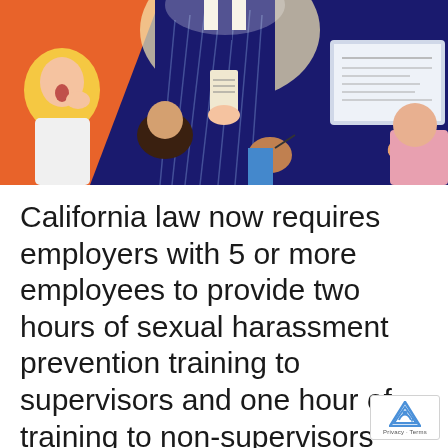[Figure (illustration): A colorful illustration showing a workplace scene with several people, including a woman with blonde hair, a person taking notes, a central figure in a dark robe holding cards, and a hand pointing at a laptop screen. Navy blue, orange, yellow, and pink tones.]
California law now requires employers with 5 or more employees to provide two hours of sexual harassment prevention training to supervisors and one hour of training to non-supervisors before January 1, 2021 (and every two years thereafter.) Sierra HR Partners is pleased to offer effective training programs to keep